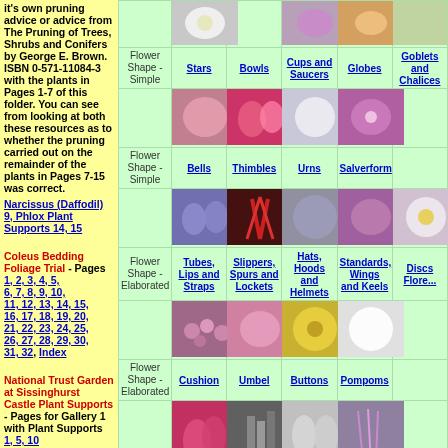it's own pruning advice or advice from The Pruning of Trees, Shrubs and Conifers by George E. Brown. ISBN 0-571-11084-3 with the plants in Pages 1-7 of this folder. You can see from looking at both these resources as to whether the pruning carried out on the remainder of the plants in Pages 7-15 was correct.
Narcissus (Daffodil) 9, Phlox Plant Supports 14, 15
Coleus Bedding Foliage Trial - Pages 1, 2, 3, 4, 5, 6, 7, 8, 9, 10, 11, 12, 13, 14, 15, 16, 17, 18, 19, 20, 21, 22, 23, 24, 25, 26, 27, 28, 29, 30, 31, 32, Index
National Trust Garden at Sissinghurst Castle Plant Supports - Pages for Gallery 1 with Plant Supports 1, 5, 10 Plants 2, 3, 4, 6, 7, 8, 9, 11, 12 Recommended Rose Pruning Methods 13
|  | Stars | Bowls | Cups and Saucers | Globes | Goblets and Chalices |
| --- | --- | --- | --- | --- | --- |
| [photos] |  |  |  |  |  |
| Flower Shape - Simple | Stars | Bowls | Cups and Saucers | Globes | Goblets and Chalices |
| [photos] |  |  |  |  |  |
| Flower Shape - Simple | Bells | Thimbles | Urns | Salverform |  |
| [photos] |  |  |  |  |  |
| Flower Shape - Elaborated | Tubes, Lips and Straps | Slippers, Spurs and Lockets | Hats, Hoods and Helmets | Standards, Wings and Keels | Discs Flore... |
| [photos] |  |  |  |  |  |
| Flower Shape - Elaborated | Cushion | Umbel | Buttons | Pompoms |  |
| [photos] |  |  |  |  |  |
| Natural | Bunches | Columns | Whorls | Plumes | Clus... |